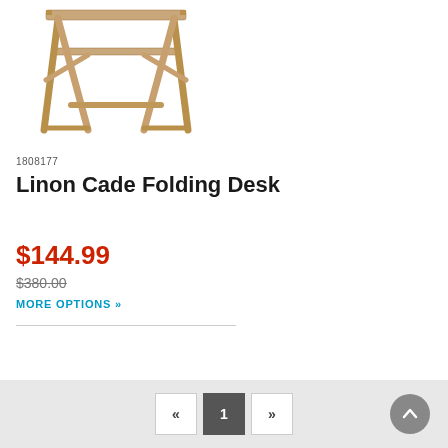[Figure (photo): Linon Cade Folding Desk product photo showing a natural wood folding desk with X-frame legs]
1808177
Linon Cade Folding Desk
$144.99
$380.00
MORE OPTIONS »
« 1 »